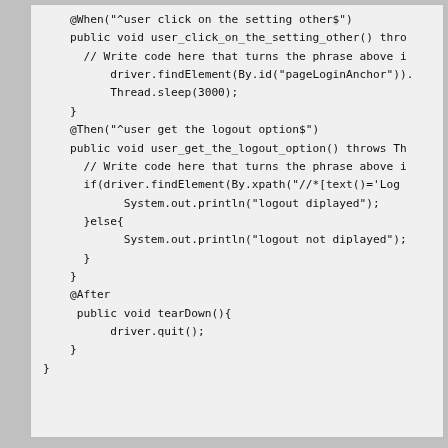[Figure (screenshot): Code snippet showing Java Cucumber BDD step definitions including @When, @Then, and @After annotations with method bodies containing Selenium WebDriver calls and Thread.sleep.]